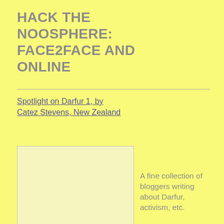HACK THE NOOSPHERE: FACE2FACE AND ONLINE
Spotlight on Darfur 1, by Catez Stevens, New Zealand
[Figure (illustration): A light yellow rectangle with a grey border, representing a placeholder image.]
A fine collection of bloggers writing about Darfur, activism, etc.
October 2, 2005 Columbia University national action conference
flickr Darfur, Sudan, etc. photo pages
[Figure (illustration): A light yellow rectangle with a grey border at the bottom, representing a placeholder image.]